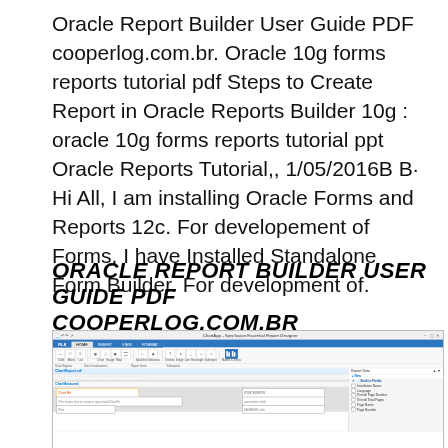Oracle Report Builder User Guide PDF cooperlog.com.br. Oracle 10g forms reports tutorial pdf Steps to Create Report in Oracle Reports Builder 10g : oracle 10g forms reports tutorial ppt Oracle Reports Tutorial,, 1/05/2016B B· Hi All, I am installing Oracle Forms and Reports 12c. For developement of Forms, I have Installed Standalone Form Builder. For development of.
ORACLE REPORT BUILDER USER GUIDE PDF COOPERLOG.COM.BR
[Figure (screenshot): Screenshot of Oracle Developer Suite Report Designer application window showing the ribbon toolbar with tabs (File, Home, Insert, View, Format), icon buttons for Table, Matrix, List, Chart, Gauge, Map, Data Bar, Sparkline, indicators, Textbox, Image, Line, Rectangle, Sub-report, and layout options. Below the ribbon is a design canvas showing 'Chart Me' text field, 'SYNCFUSION' label field, a placeholder text 'This shows how to create a report with Chart.Pe', and a right-side panel showing 'Report Data' with Built-in Fields including options for Installation Name, Language, Overall Page Number, Current Total Pages, Page Name, and more.]